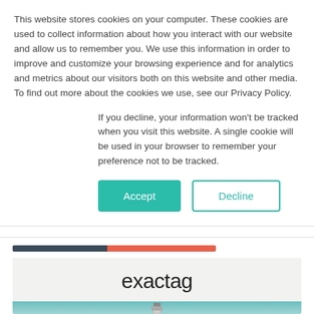This website stores cookies on your computer. These cookies are used to collect information about how you interact with our website and allow us to remember you. We use this information in order to improve and customize your browsing experience and for analytics and metrics about our visitors both on this website and other media. To find out more about the cookies we use, see our Privacy Policy.
If you decline, your information won't be tracked when you visit this website. A single cookie will be used in your browser to remember your preference not to be tracked.
Accept | Decline
[Figure (other): Horizontal progress/loading bar with a dark navy segment on the left and an orange/red segment on the right]
[Figure (logo): exactag logo text in dark color on a light gray background, above a teal/cyan colored image area showing a lighthouse silhouette]